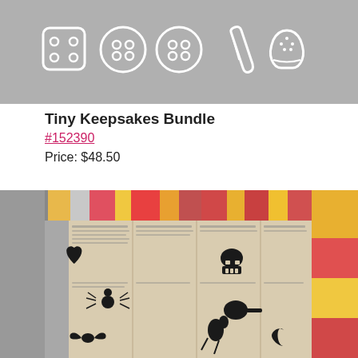[Figure (illustration): Gray banner image showing white outline illustrations of sewing/craft notions including buttons, a safety pin, and a thimble on a gray background]
Tiny Keepsakes Bundle
#152390
Price: $48.50
[Figure (photo): Photo of an artistic collage/artwork featuring vintage-style newsprint pages with black illustrations of various objects (spider, skull, horse, heart, bat, moon, etc.) laid out in front of colorful painted wooden blocks/tiles arranged around the border in pink, yellow, and orange colors]